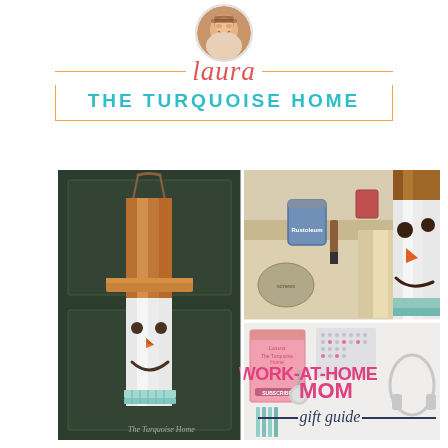[Figure (photo): Circular portrait photo of Laura, a smiling woman with brown hair]
laura
THE TURQUOISE HOME
[Figure (photo): Collage of four images: (1) A wooden snowman door hanger with a scarf, hanging on a dark green door; (2) Craft supplies including paint cans, brushes, and wood boards on a table; (3) Close-up of a snowman face painted on wood with carrot nose and turquoise scarf; (4) A 'Work-At-Home Mom gift guide' graphic with office items like headphones and a desk lamp]